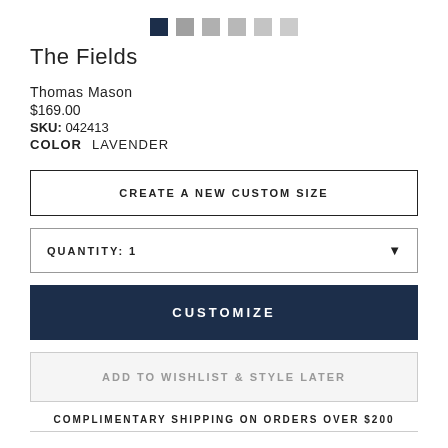[Figure (other): Six color swatches in a row: first is dark navy/black, remaining five are various shades of gray]
The Fields
Thomas Mason
$169.00
SKU: 042413
COLOR   LAVENDER
CREATE A NEW CUSTOM SIZE
QUANTITY: 1
CUSTOMIZE
ADD TO WISHLIST & STYLE LATER
COMPLIMENTARY SHIPPING ON ORDERS OVER $200